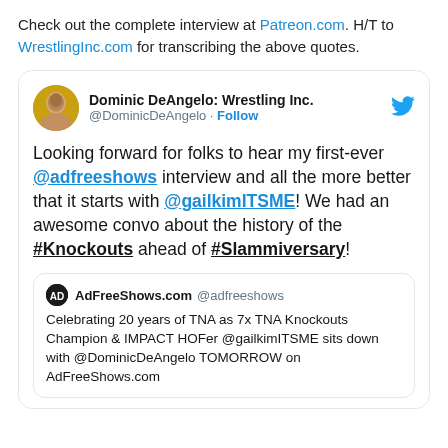Check out the complete interview at Patreon.com. H/T to WrestlingInc.com for transcribing the above quotes.
[Figure (screenshot): Embedded tweet from @DominicDeAngelo (Dominic DeAngelo: Wrestling Inc.) saying: Looking forward for folks to hear my first-ever @adfreeshows interview and all the more better that it starts with @gailkimITSME! We had an awesome convo about the history of the #Knockouts ahead of #Slammiversary! Includes a quoted tweet from AdFreeShows.com @adfreeshows: Celebrating 20 years of TNA as 7x TNA Knockouts Champion & IMPACT HOFer @gailkimITSME sits down with @DominicDeAngelo TOMORROW on AdFreeShows.com]